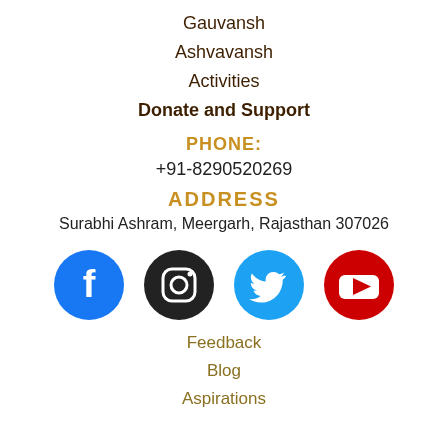Gauvansh
Ashvavansh
Activities
Donate and Support
PHONE:
+91-8290520269
ADDRESS
Surabhi Ashram, Meergarh, Rajasthan 307026
[Figure (infographic): Social media icons: Facebook (blue circle with f), Instagram (dark circle with camera icon), Twitter (blue circle with bird), YouTube (red circle with play button)]
Feedback
Blog
Aspirations